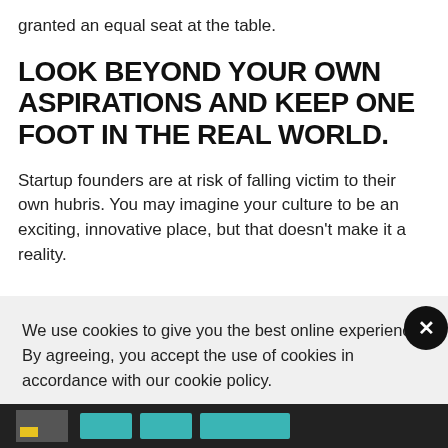granted an equal seat at the table.
LOOK BEYOND YOUR OWN ASPIRATIONS AND KEEP ONE FOOT IN THE REAL WORLD.
Startup founders are at risk of falling victim to their own hubris. You may imagine your culture to be an exciting, innovative place, but that doesn't make it a reality.
We use cookies to give you the best online experience. By agreeing, you accept the use of cookies in accordance with our cookie policy.
I ACCEPT
Privacy Center   Cookie Policy